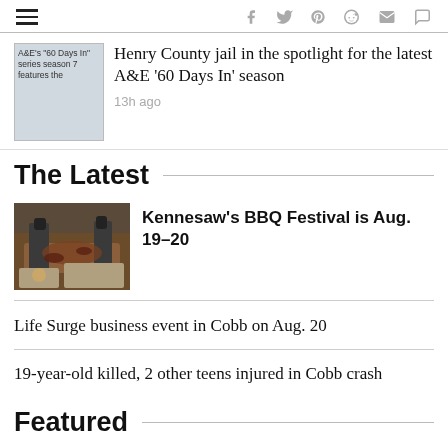hamburger menu, social icons: f, twitter, pinterest, reddit, mail, comment
[Figure (screenshot): Thumbnail image of A&E's '60 Days In' series season 7 featuring the show]
Henry County jail in the spotlight for the latest A&E '60 Days In' season
13h ago
The Latest
[Figure (photo): BBQ meat being handled with black gloves at a festival]
Kennesaw's BBQ Festival is Aug. 19–20
Life Surge business event in Cobb on Aug. 20
19-year-old killed, 2 other teens injured in Cobb crash
Featured